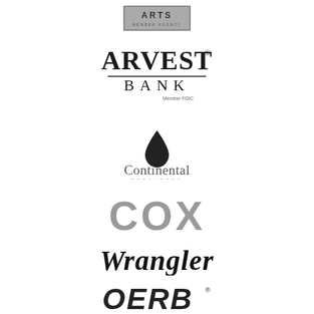[Figure (logo): ARTS Member Agency logo - small rectangular badge with 'ARTS' and 'MEMBER AGENCY' text]
[Figure (logo): Arvest Bank logo - serif text 'ARVEST' with registered trademark, 'BANK' below with a horizontal line, 'Member FDIC' in small text]
[Figure (logo): Continental Resources logo - dark water drop icon above 'Continental' in elegant serif font with 'RESOURCES' in small caps below]
[Figure (logo): COX logo - large gray rounded sans-serif letters]
[Figure (logo): Wrangler logo - bold black italic serif text]
[Figure (logo): OERB logo - bold dark letters with stylized design and registered trademark]